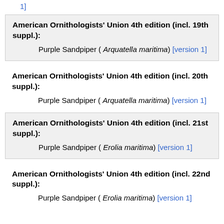[version 1]
American Ornithologists' Union 4th edition (incl. 19th suppl.):
Purple Sandpiper ( Arquatella maritima) [version 1]
American Ornithologists' Union 4th edition (incl. 20th suppl.):
Purple Sandpiper ( Arquatella maritima) [version 1]
American Ornithologists' Union 4th edition (incl. 21st suppl.):
Purple Sandpiper ( Erolia maritima) [version 1]
American Ornithologists' Union 4th edition (incl. 22nd suppl.):
Purple Sandpiper ( Erolia maritima) [version 1]